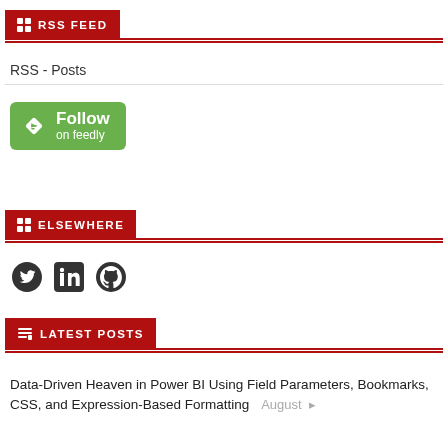RSS FEED
RSS - Posts
[Figure (logo): Follow on Feedly green button with Feedly logo icon]
ELSEWHERE
[Figure (infographic): Social media icons row: Twitter bird, LinkedIn square, GitHub octocat]
LATEST POSTS
Data-Driven Heaven in Power BI Using Field Parameters, Bookmarks, CSS, and Expression-Based Formatting    August